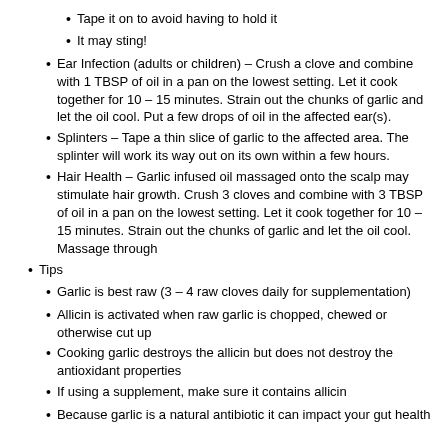Tape it on to avoid having to hold it
It may sting!
Ear Infection (adults or children) – Crush a clove and combine with 1 TBSP of oil in a pan on the lowest setting.  Let it cook together for 10 – 15 minutes.  Strain out the chunks of garlic and let the oil cool.  Put a few drops of oil in the affected ear(s).
Splinters – Tape a thin slice of garlic to the affected area.  The splinter will work its way out on its own within a few hours.
Hair Health – Garlic infused oil massaged onto the scalp may stimulate hair growth. Crush 3 cloves and combine with 3 TBSP of oil in a pan on the lowest setting.  Let it cook together for 10 – 15 minutes.  Strain out the chunks of garlic and let the oil cool.  Massage through
Tips
Garlic is best raw (3 – 4 raw cloves daily for supplementation)
Allicin is activated when raw garlic is chopped, chewed or otherwise cut up
Cooking garlic destroys the allicin but does not destroy the antioxidant properties
If using a supplement, make sure it contains allicin
Because garlic is a natural antibiotic it can impact your gut health